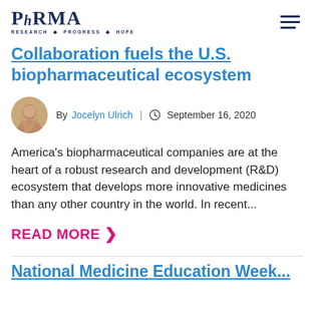PhRMA — RESEARCH · PROGRESS · HOPE
Collaboration fuels the U.S. biopharmaceutical ecosystem
By Jocelyn Ulrich | September 16, 2020
America's biopharmaceutical companies are at the heart of a robust research and development (R&D) ecosystem that develops more innovative medicines than any other country in the world. In recent...
READ MORE >
National Medicine Education Week...